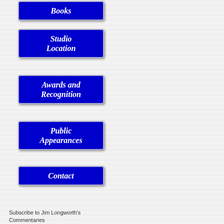[Figure (screenshot): Blue navigation button labeled 'Books']
[Figure (screenshot): Blue navigation button labeled 'Studio Location']
[Figure (screenshot): Blue navigation button labeled 'Awards and Recognition']
[Figure (screenshot): Blue navigation button labeled 'Public Appearances']
[Figure (screenshot): Blue navigation button labeled 'Contact']
Subscribe to Jim Longworth's Commentaries